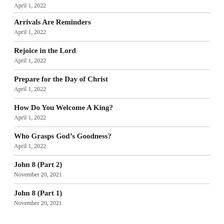April 1, 2022
Arrivals Are Reminders
April 1, 2022
Rejoice in the Lord
April 1, 2022
Prepare for the Day of Christ
April 1, 2022
How Do You Welcome A King?
April 1, 2022
Who Grasps God’s Goodness?
April 1, 2022
John 8 (Part 2)
November 20, 2021
John 8 (Part 1)
November 20, 2021